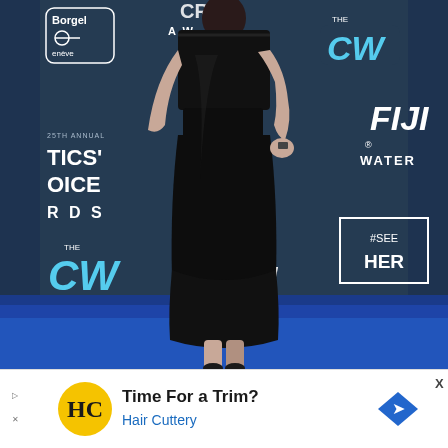[Figure (photo): A woman wearing a black strapless midi dress posing on a blue carpet at the 25th Annual Critics' Choice Awards. The backdrop features logos for The CW, FIJI Water, #SeeHer, and Borgel. The carpet is bright blue.]
[Figure (infographic): Advertisement banner for Hair Cuttery with yellow circular logo showing 'HC', text reading 'Time For a Trim?' and 'Hair Cuttery' in blue, and a blue diamond navigation arrow icon on the right.]